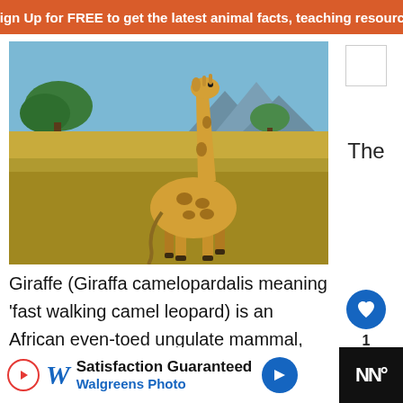Sign Up for FREE to get the latest animal facts, teaching resource
[Figure (photo): A giraffe walking across an African savanna with acacia trees and mountains in the background]
The
Giraffe (Giraffa camelopardalis meaning 'fast walking camel leopard) is an African even-toed ungulate mammal, the tallest of all land animal species.The giraffe is related to deer and ca...mily.